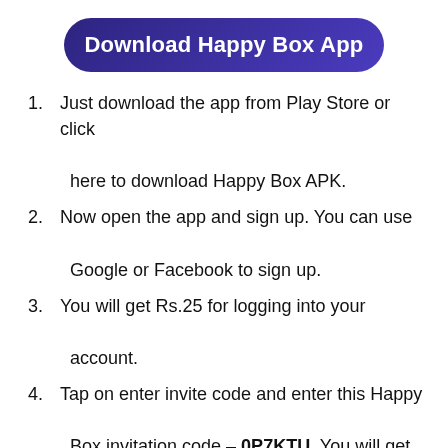Download Happy Box App
Just download the app from Play Store or click here to download Happy Box APK.
Now open the app and sign up. You can use Google or Facebook to sign up.
You will get Rs.25 for logging into your account.
Tap on enter invite code and enter this Happy Box invitation code – 0P7KTU. You will get Rs.30 for entering this Happy Box referral code.
You will get Rs.25+30= Rs.55. And if you